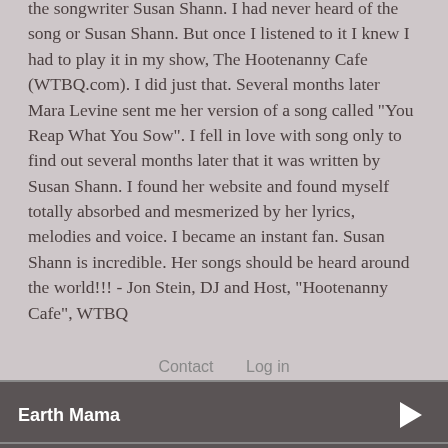the songwriter Susan Shann. I had never heard of the song or Susan Shann. But once I listened to it I knew I had to play it in my show, The Hootenanny Cafe (WTBQ.com). I did just that. Several months later Mara Levine sent me her version of a song called "You Reap What You Sow". I fell in love with song only to find out several months later that it was written by Susan Shann. I found her website and found myself totally absorbed and mesmerized by her lyrics, melodies and voice. I became an instant fan. Susan Shann is incredible. Her songs should be heard around the world!!! - Jon Stein, DJ and Host, "Hootenanny Cafe", WTBQ
Contact   Log in
Earth Mama